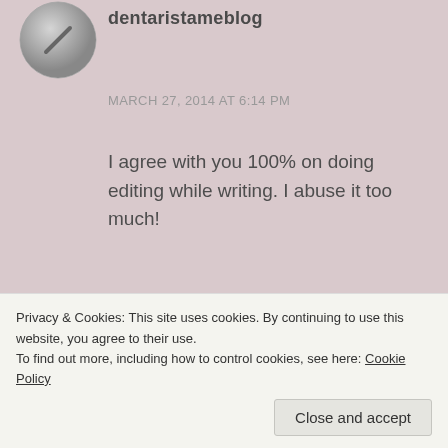[Figure (photo): Circular avatar/profile image showing a grayscale icon]
dentaristameblog
MARCH 27, 2014 AT 6:14 PM
I agree with you 100% on doing editing while writing. I abuse it too much!
I definitely think having someone else look at your work is critical to creating a well written book (or story).
Privacy & Cookies: This site uses cookies. By continuing to use this website, you agree to their use.
To find out more, including how to control cookies, see here: Cookie Policy
Close and accept